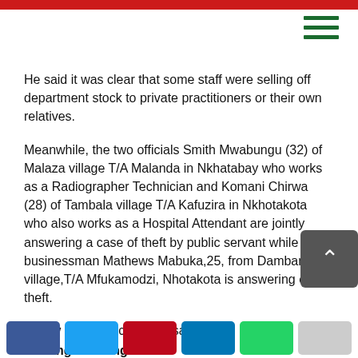He said it was clear that some staff were selling off department stock to private practitioners or their own relatives.
Meanwhile, the two officials Smith Mwabungu (32) of Malaza village T/A Malanda in Nkhatabay who works as a Radiographer Technician and Komani Chirwa (28) of Tambala village T/A Kafuzira in Nkhotakota who also works as a Hospital Attendant are jointly answering a case of theft by public servant while the businessman Mathews Mabuka,25, from Dambanjoka village,T/A Mfukamodzi, Nhotakota is answering of theft.
Follow and Subscribe Nyasa TV :
Sharing is caring!